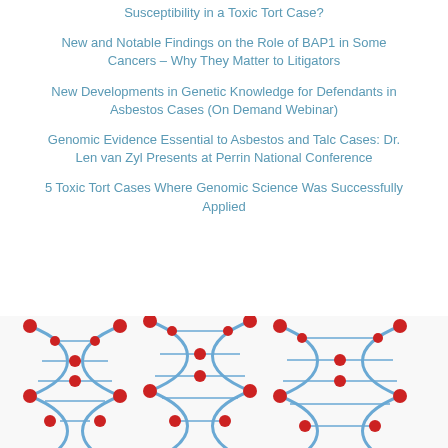Susceptibility in a Toxic Tort Case?
New and Notable Findings on the Role of BAP1 in Some Cancers – Why They Matter to Litigators
New Developments in Genetic Knowledge for Defendants in Asbestos Cases (On Demand Webinar)
Genomic Evidence Essential to Asbestos and Talc Cases: Dr. Len van Zyl Presents at Perrin National Conference
5 Toxic Tort Cases Where Genomic Science Was Successfully Applied
[Figure (photo): DNA double helix illustration with red and blue molecular structure on white background]